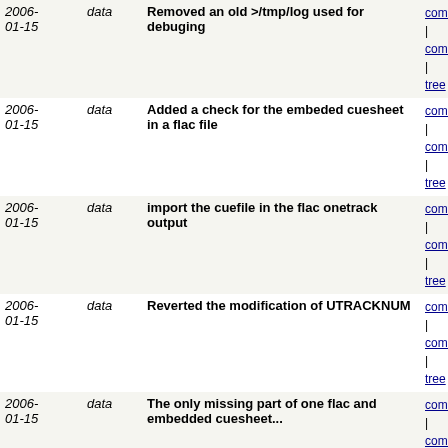| Date | Author | Message | Links |
| --- | --- | --- | --- |
| 2006-01-15 | data | Removed an old >/tmp/log used for debuging | commit | commitdiff | tree |
| 2006-01-15 | data | Added a check for the embeded cuesheet in a flac file | commit | commitdiff | tree |
| 2006-01-15 | data | import the cuefile in the flac onetrack output | commit | commitdiff | tree |
| 2006-01-15 | data | Reverted the modification of UTRACKNUM | commit | commitdiff | tree |
| 2006-01-15 | data | The only missing part of one flac and embedded cuesheet... | commit | commitdiff | tree |
| 2006-01-10 | data | More work for the recursive CDDB code | commit | commitdiff | tree |
| 2006-01-09 | data | More CDDB in recursive local repository work | commit | commitdiff | tree |
| 2006-01-08 | data | r246@frost: data | 2006-01-08 14:07:26 +0200
r246@frost: data | 2006-01-08 14:07:26 +0200 | commit | commitdiff | tree |
| 2006-01-08 | data | Recursive CDDB local dir work | commit | commitdiff | tree |
| 2006-01-05 | data | More work on musicbrainz support | commit | commitdiff | tree |
| 2006-01-02 | data | Modified changelog | commit | commitdiff | tree |
| 2006-01-02 | data | Added a missing $. | commit | commitdiff | tree |
| 2005-... | data | r207@frost: data | 2005-12-29 10:19:47... | commit |